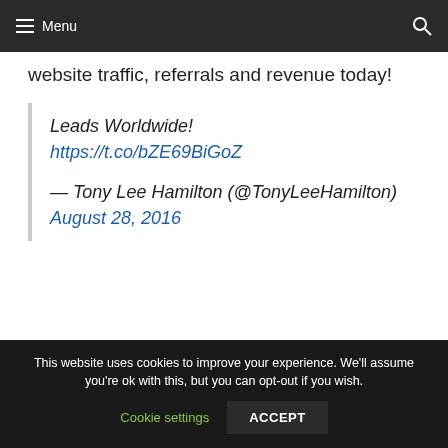Menu
website traffic, referrals and revenue today!
Leads Worldwide! https://t.co/bZE69BiGoZ
— Tony Lee Hamilton (@TonyLeeHamilton) August 28, 2016
This website uses cookies to improve your experience. We'll assume you're ok with this, but you can opt-out if you wish.